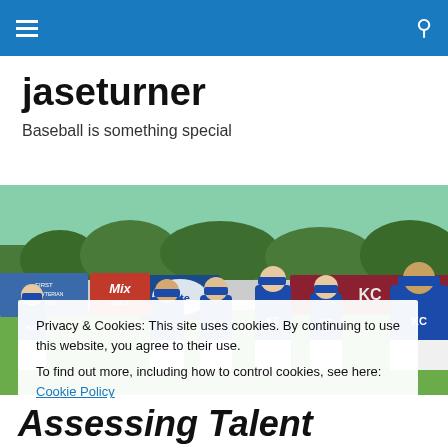jaseturner — navigation bar
jaseturner
Baseball is something special
[Figure (photo): Kansas City Royals baseball players in blue KC uniforms walking on a baseball field, with outfield fence advertisements including Miller Lite and Mix 107.3 visible in the background.]
Privacy & Cookies: This site uses cookies. By continuing to use this website, you agree to their use.
To find out more, including how to control cookies, see here: Cookie Policy
Assessing Talent